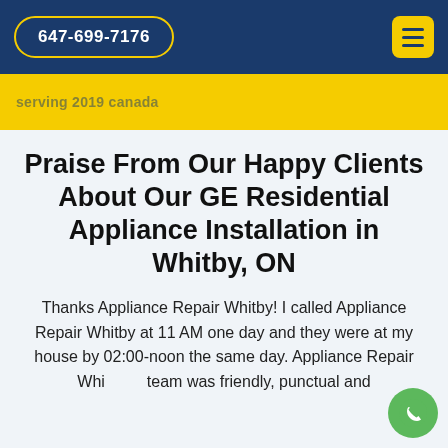647-699-7176
serving 2019 canada
Praise From Our Happy Clients About Our GE Residential Appliance Installation in Whitby, ON
Thanks Appliance Repair Whitby! I called Appliance Repair Whitby at 11 AM one day and they were at my house by 02:00-noon the same day. Appliance Repair Whitby team was friendly, punctual and